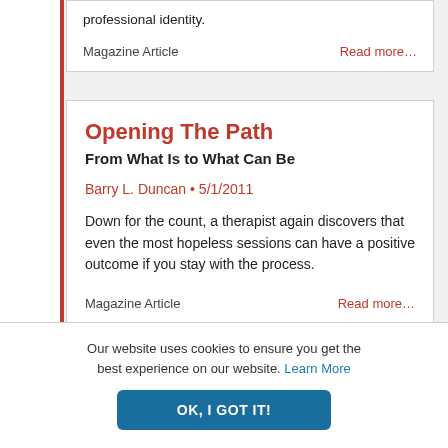professional identity.
Magazine Article
Read more...
Opening The Path
From What Is to What Can Be
Barry L. Duncan • 5/1/2011
Down for the count, a therapist again discovers that even the most hopeless sessions can have a positive outcome if you stay with the process.
Magazine Article
Read more...
Our website uses cookies to ensure you get the best experience on our website. Learn More
OK, I GOT IT!